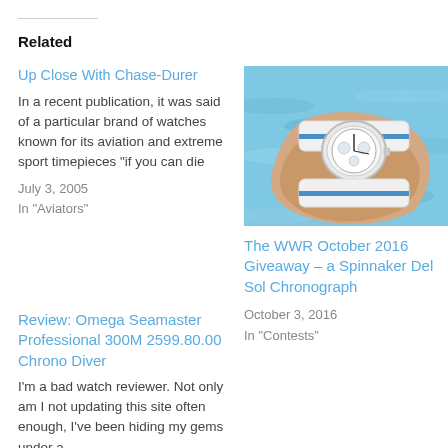Related
Up Close With Chase-Durer
In a recent publication, it was said of a particular brand of watches known for its aviation and extreme sport timepieces "if you can die
July 3, 2005
In "Aviators"
[Figure (photo): A wrist wearing a white and blue Spinnaker Del Sol Chronograph watch, photographed near water with blue rippling light reflections]
The WWR October 2016 Giveaway – a Spinnaker Del Sol Chronograph
October 3, 2016
In "Contests"
Review: Omega Seamaster Professional 300M 2599.80.00 Chrono Diver
I'm a bad watch reviewer. Not only am I not updating this site often enough, I've been hiding my gems under a